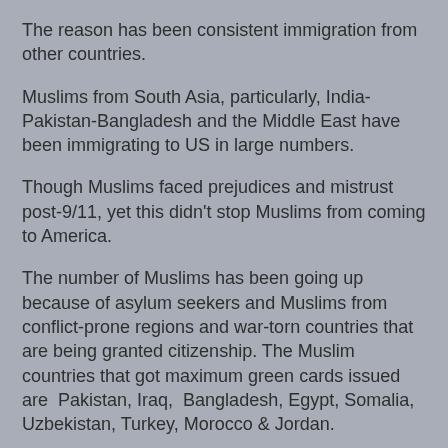The reason has been consistent immigration from other countries.
Muslims from South Asia, particularly, India-Pakistan-Bangladesh and the Middle East have been immigrating to US in large numbers.
Though Muslims faced prejudices and mistrust post-9/11, yet this didn't stop Muslims from coming to America.
The number of Muslims has been going up because of asylum seekers and Muslims from conflict-prone regions and war-torn countries that are being granted citizenship. The Muslim countries that got maximum green cards issued are Pakistan, Iraq, Bangladesh, Egypt, Somalia, Uzbekistan, Turkey, Morocco & Jordan.
VIDEO: US MUSLIM population set to double by 2030 [USA Today report
[*]Illustration from an earlier report]